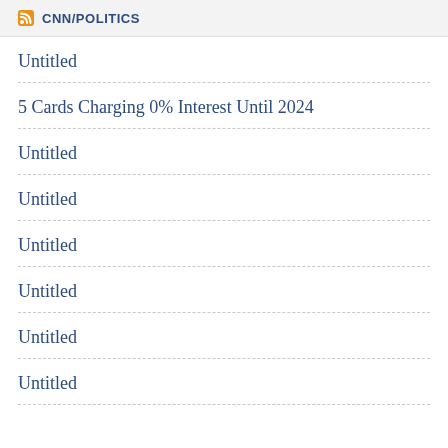CNN/POLITICS
Untitled
5 Cards Charging 0% Interest Until 2024
Untitled
Untitled
Untitled
Untitled
Untitled
Untitled